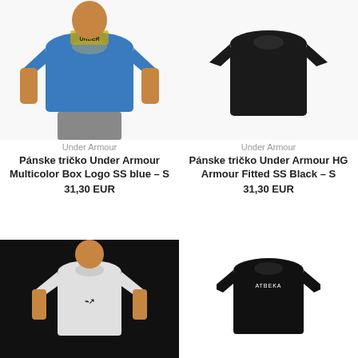[Figure (photo): Man wearing blue Under Armour t-shirt with Multicolor Box Logo, top half of body shown]
Under Armour
Pánske tričko Under Armour Multicolor Box Logo SS blue - S
31,30 EUR
[Figure (photo): Black Under Armour t-shirt displayed on mannequin/model, HG Armour Fitted SS Black]
Under Armour
Pánske tričko Under Armour HG Armour Fitted SS Black - S
31,30 EUR
[Figure (photo): Man wearing white Under Armour long-sleeve compression shirt on black background]
[Figure (photo): Black Athena/Atbeka t-shirt with white side stripe detailing on white background]